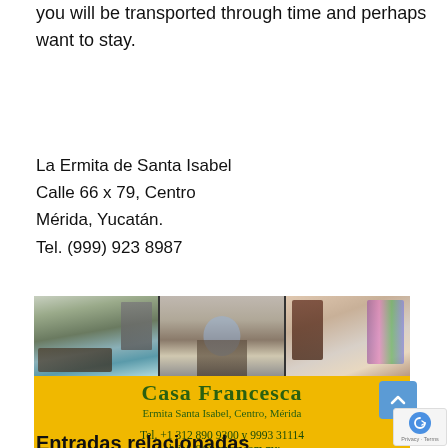you will be transported through time and perhaps want to stay.
La Ermita de Santa Isabel
Calle 66 x 79, Centro
Mérida, Yucatán.
Tel. (999) 923 8987
[Figure (photo): Three-panel photo strip showing interior rooms of Casa Francesca: kitchen, living/hallway, and bathroom. Below the photos is a yellow advertisement banner reading 'Casa Francesca, Ermita Santa Isabel, Centro, Mérida, Tel. +1 312 890 9300 y 9993 31114, elviaf_8@yahoo.com.mx']
Entradas relacionadas